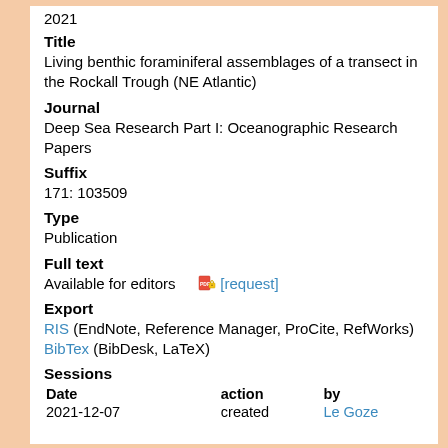2021
Title
Living benthic foraminiferal assemblages of a transect in the Rockall Trough (NE Atlantic)
Journal
Deep Sea Research Part I: Oceanographic Research Papers
Suffix
171: 103509
Type
Publication
Full text
Available for editors  [request]
Export
RIS (EndNote, Reference Manager, ProCite, RefWorks)
BibTex (BibDesk, LaTeX)
Sessions
| Date | action | by |
| --- | --- | --- |
| 2021-12-07 | created | Le Goze |